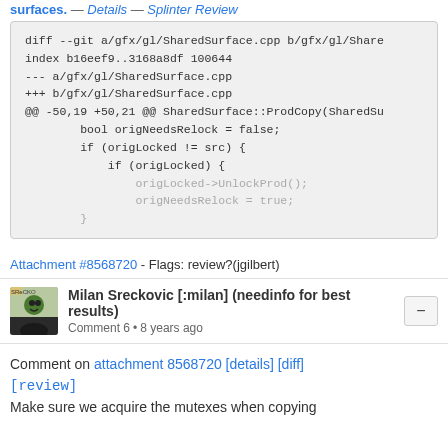surfaces. — Details — Splinter Review
[Figure (screenshot): Code diff block showing SharedSurface.cpp changes]
Attachment #8568720 - Flags: review?(jgilbert)
Milan Sreckovic [:milan] (needinfo for best results)
Comment 6 • 8 years ago
Comment on attachment 8568720 [details] [diff] [review]
Make sure we acquire the mutexes when copying